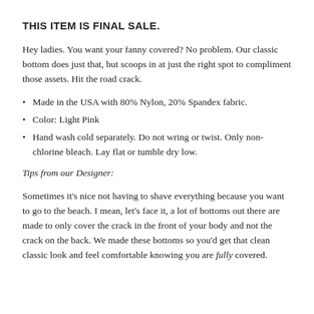THIS ITEM IS FINAL SALE.
Hey ladies. You want your fanny covered? No problem. Our classic bottom does just that, but scoops in at just the right spot to compliment those assets. Hit the road crack.
Made in the USA with 80% Nylon, 20% Spandex fabric.
Color: Light Pink
Hand wash cold separately. Do not wring or twist. Only non-chlorine bleach. Lay flat or tumble dry low.
Tips from our Designer:
Sometimes it's nice not having to shave everything because you want to go to the beach. I mean, let's face it, a lot of bottoms out there are made to only cover the crack in the front of your body and not the crack on the back. We made these bottoms so you'd get that clean classic look and feel comfortable knowing you are fully covered.